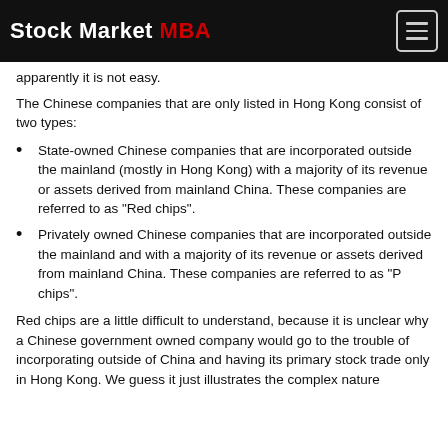Stock Market MBA
apparently it is not easy.
The Chinese companies that are only listed in Hong Kong consist of two types:
State-owned Chinese companies that are incorporated outside the mainland (mostly in Hong Kong) with a majority of its revenue or assets derived from mainland China. These companies are referred to as "Red chips".
Privately owned Chinese companies that are incorporated outside the mainland and with a majority of its revenue or assets derived from mainland China. These companies are referred to as "P chips".
Red chips are a little difficult to understand, because it is unclear why a Chinese government owned company would go to the trouble of incorporating outside of China and having its primary stock trade only in Hong Kong. We guess it just illustrates the complex nature